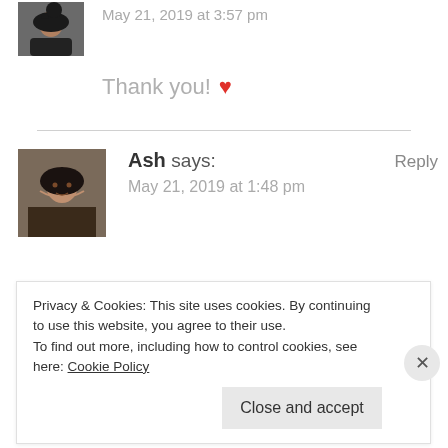May 21, 2019 at 3:57 pm
Thank you! ❤
Ash says:
May 21, 2019 at 1:48 pm
Reply
Privacy & Cookies: This site uses cookies. By continuing to use this website, you agree to their use.
To find out more, including how to control cookies, see here: Cookie Policy
Close and accept